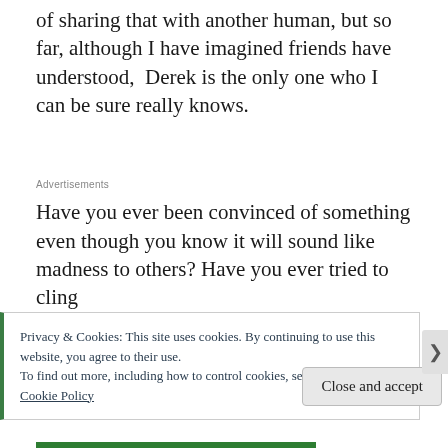of sharing that with another human, but so far, although I have imagined friends have understood,  Derek is the only one who I can be sure really knows.
Advertisements
Have you ever been convinced of something even though you know it will sound like madness to others? Have you ever tried to cling
Privacy & Cookies: This site uses cookies. By continuing to use this website, you agree to their use.
To find out more, including how to control cookies, see here: Cookie Policy
Close and accept